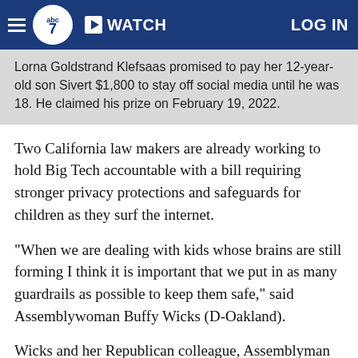WATCH | LOG IN
Lorna Goldstrand Klefsaas promised to pay her 12-year-old son Sivert $1,800 to stay off social media until he was 18. He claimed his prize on February 19, 2022.
Two California law makers are already working to hold Big Tech accountable with a bill requiring stronger privacy protections and safeguards for children as they surf the internet.
"When we are dealing with kids whose brains are still forming I think it is important that we put in as many guardrails as possible to keep them safe," said Assemblywoman Buffy Wicks (D-Oakland).
Wicks and her Republican colleague, Assemblyman Jordan Cunningham, put forth the California Age